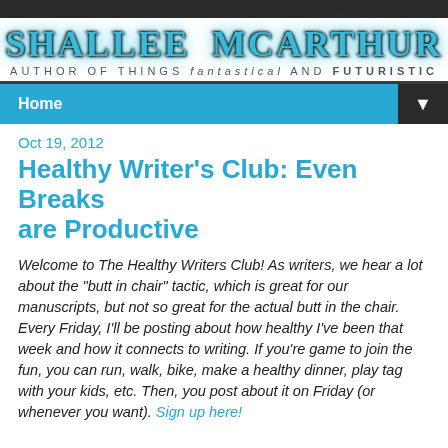[Figure (logo): Shallee McArthur blog header with stylized text logo in blue metallic font and subtitle 'Author of Things Fantastical and Futuristic']
Home ▼
Oct 19, 2012
Healthy Writer's Club: Even Breaks are Productive
Welcome to The Healthy Writers Club! As writers, we hear a lot about the "butt in chair" tactic, which is great for our manuscripts, but not so great for the actual butt in the chair. Every Friday, I'll be posting about how healthy I've been that week and how it connects to writing. If you're game to join the fun, you can run, walk, bike, make a healthy dinner, play tag with your kids, etc. Then, you post about it on Friday (or whenever you want). Sign up here!